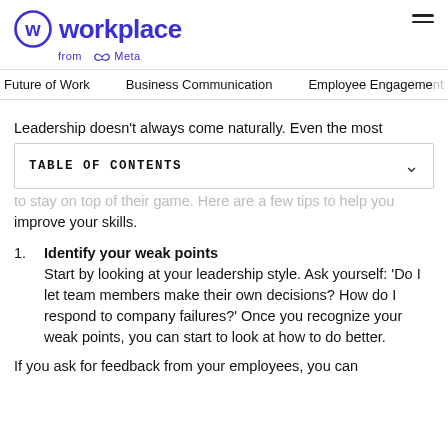Workplace from Meta
Future of Work   Business Communication   Employee Engagement
Leadership doesn't always come naturally. Even the most
TABLE OF CONTENTS
to stay on top of their game. Here are a few tips to help you improve your skills.
1. Identify your weak points
Start by looking at your leadership style. Ask yourself: 'Do I let team members make their own decisions? How do I respond to company failures?' Once you recognize your weak points, you can start to look at how to do better.
If you ask for feedback from your employees, you can